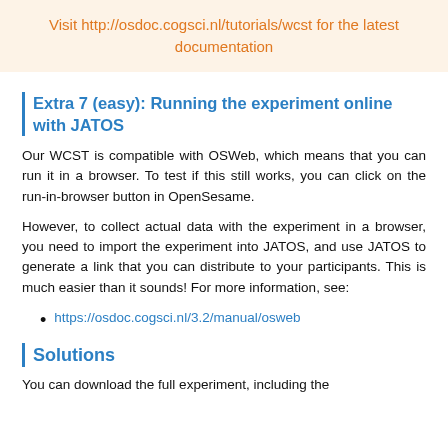Visit http://osdoc.cogsci.nl/tutorials/wcst for the latest documentation
Extra 7 (easy): Running the experiment online with JATOS
Our WCST is compatible with OSWeb, which means that you can run it in a browser. To test if this still works, you can click on the run-in-browser button in OpenSesame.
However, to collect actual data with the experiment in a browser, you need to import the experiment into JATOS, and use JATOS to generate a link that you can distribute to your participants. This is much easier than it sounds! For more information, see:
https://osdoc.cogsci.nl/3.2/manual/osweb
Solutions
You can download the full experiment, including the